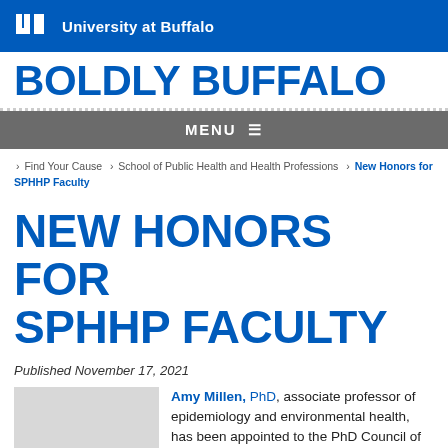University at Buffalo
BOLDLY BUFFALO
MENU
› Find Your Cause › School of Public Health and Health Professions › New Honors for SPHHP Faculty
NEW HONORS FOR SPHHP FACULTY
Published November 17, 2021
Amy Millen, PhD, associate professor of epidemiology and environmental health, has been appointed to the PhD Council of the Association of Schools and Programs